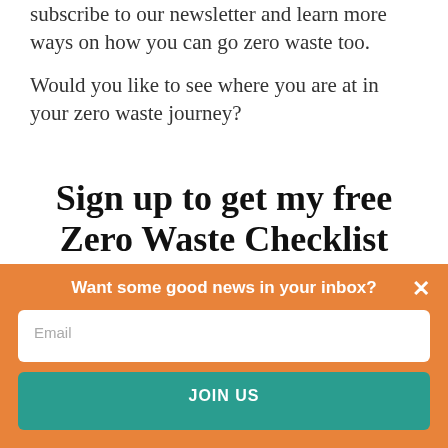subscribe to our newsletter and learn more ways on how you can go zero waste too.
Would you like to see where you are at in your zero waste journey?
Sign up to get my free Zero Waste Checklist
P.S. I send out a weekly newsletter too!
Want some good news in your inbox?
Email
JOIN US